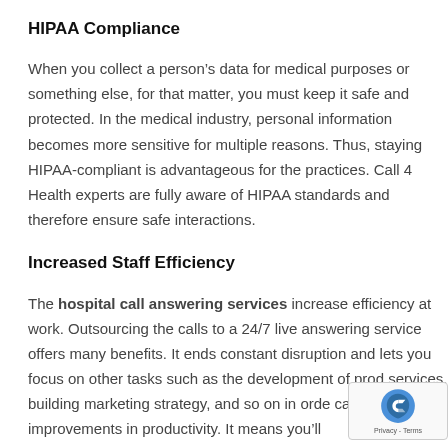HIPAA Compliance
When you collect a person’s data for medical purposes or something else, for that matter, you must keep it safe and protected. In the medical industry, personal information becomes more sensitive for multiple reasons. Thus, staying HIPAA-compliant is advantageous for the practices. Call 4 Health experts are fully aware of HIPAA standards and therefore ensure safe interactions.
Increased Staff Efficiency
The hospital call answering services increase efficiency at work. Outsourcing the calls to a 24/7 live answering service offers many benefits. It ends constant disruption and lets you focus on other tasks such as the development of prod services, building marketing strategy, and so on in orde cause significant improvements in productivity. It means you'll